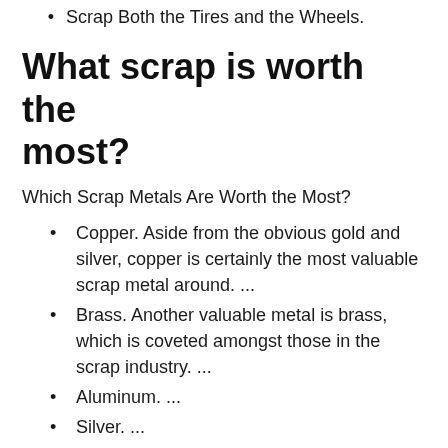Scrap Both the Tires and the Wheels.
What scrap is worth the most?
Which Scrap Metals Are Worth the Most?
Copper. Aside from the obvious gold and silver, copper is certainly the most valuable scrap metal around. ...
Brass. Another valuable metal is brass, which is coveted amongst those in the scrap industry. ...
Aluminum. ...
Silver. ...
Stainless steel. ...
Gold. ...